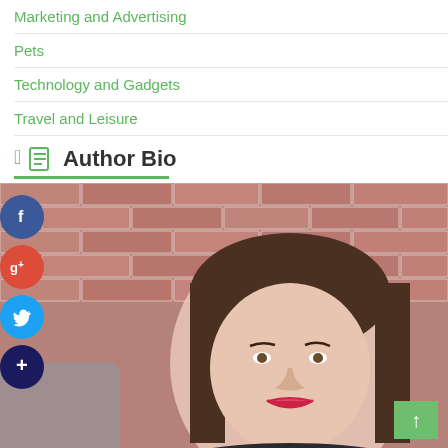Marketing and Advertising
Pets
Technology and Gadgets
Travel and Leisure
Author Bio
[Figure (photo): Portrait photo of a young woman with long brown hair, smiling, with a brick wall background. Social media share buttons (Facebook, Google+, Twitter, plus) overlaid on the left side. A green scroll-up button visible at bottom right.]